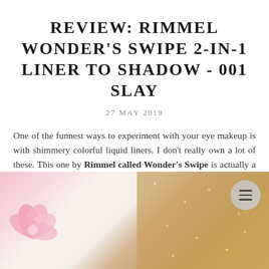REVIEW: RIMMEL WONDER'S SWIPE 2-IN-1 LINER TO SHADOW - 001 SLAY
27 MAY 2019
One of the funnest ways to experiment with your eye makeup is with shimmery colorful liquid liners. I don't really own a lot of these. This one by Rimmel called Wonder's Swipe is actually a 2-in-1 product. You can use it as an eyeliner or eyeshadow. I've tried it as both.
[Figure (photo): Photo showing a pink flower on white fluffy background on the left and gold/rose gold glitter texture on the right, with a hamburger menu button in the top-right corner of the photo]